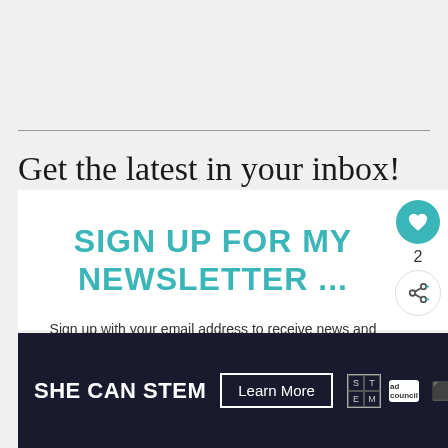Get the latest in your inbox!
SIGN UP FOR MY NEWSLETTER ...
Sign up with your email address to receive news and updates.
[Figure (other): SHE CAN STEM advertisement banner with Learn More button, STEM grid logo, ad council logo, and Moat logo]
[Figure (other): What's Next panel showing Stay and Play in Cocoa... with thumbnail image]
[Figure (other): Social sidebar with heart/like button showing count 2 and share button]